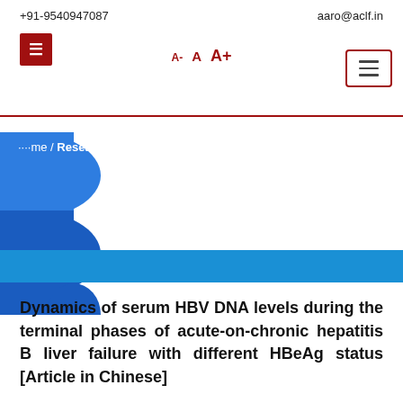+91-9540947087   aaro@aclf.in   A-  A  A+
[Figure (logo): Red square logo button with white icon and hamburger menu button with dark red border]
[Figure (illustration): Blue decorative blob shapes on the left side of the page with a blue horizontal banner bar]
.... me / Research
Dynamics of serum HBV DNA levels during the terminal phases of acute-on-chronic hepatitis B liver failure with different HBeAg status [Article in Chinese]